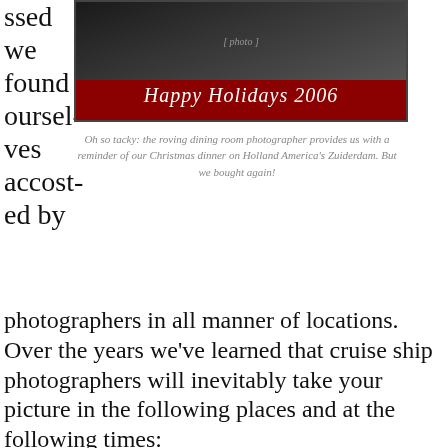ssed we found ourselves accosted by photographers in all manner of locations. Over the years we've learned that cruise ship photographers will inevitably take your picture in the following places and at the following times:
[Figure (photo): Christmas holiday photo card from Holland America's Zuiderdam ship with 'Happy Holidays 2006' banner on red background]
Oh so tacky: the roving dining room photographer provides us with a reminder of our Christmas dinner on Holland America's Zuiderdam. But we bought again!
Privacy & Cookies: This site uses cookies. By continuing to use this website, you agree to their use.
To find out more, including how to control cookies, see here: Cookie Policy
Close and accept